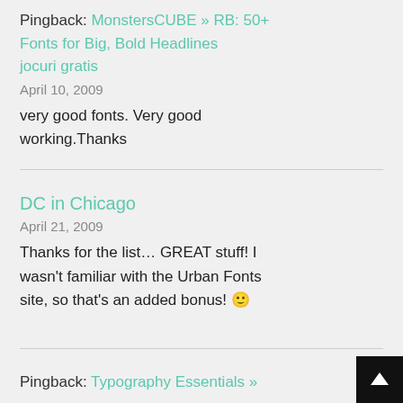Pingback: MonstersCUBE » RB: 50+ Fonts for Big, Bold Headlines jocuri gratis
April 10, 2009
very good fonts. Very good working.Thanks
DC in Chicago
April 21, 2009
Thanks for the list… GREAT stuff! I wasn't familiar with the Urban Fonts site, so that's an added bonus! 🙂
Pingback: Typography Essentials »